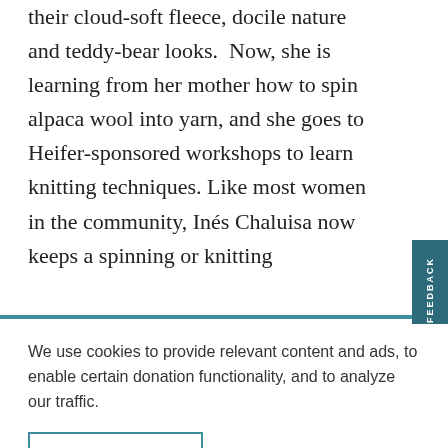their cloud-soft fleece, docile nature and teddy-bear looks.  Now, she is learning from her mother how to spin alpaca wool into yarn, and she goes to Heifer-sponsored workshops to learn knitting techniques. Like most women in the community, Inés Chaluisa now keeps a spinning or knitting
We use cookies to provide relevant content and ads, to enable certain donation functionality, and to analyze our traffic.
OK
LEARN MORE